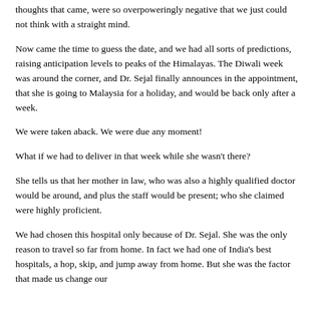thoughts that came, were so overpoweringly negative that we just could not think with a straight mind.
Now came the time to guess the date, and we had all sorts of predictions, raising anticipation levels to peaks of the Himalayas. The Diwali week was around the corner, and Dr. Sejal finally announces in the appointment, that she is going to Malaysia for a holiday, and would be back only after a week.
We were taken aback. We were due any moment!
What if we had to deliver in that week while she wasn't there?
She tells us that her mother in law, who was also a highly qualified doctor would be around, and plus the staff would be present; who she claimed were highly proficient.
We had chosen this hospital only because of Dr. Sejal. She was the only reason to travel so far from home. In fact we had one of India's best hospitals, a hop, skip, and jump away from home. But she was the factor that made us change our